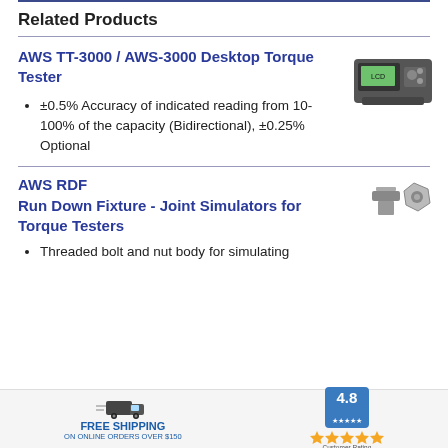Related Products
AWS TT-3000 / AWS-3000 Desktop Torque Tester
±0.5% Accuracy of indicated reading from 10-100% of the capacity (Bidirectional), ±0.25% Optional
[Figure (photo): AWS TT-3000 Desktop Torque Tester device photo]
AWS RDF
Run Down Fixture - Joint Simulators for Torque Testers
Threaded bolt and nut body for simulating
[Figure (photo): Run Down Fixture parts photo]
FREE SHIPPING On Online Orders Over $150 | 4.8 Customer Rating